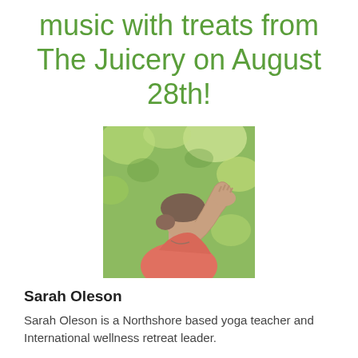music with treats from The Juicery on August 28th!
[Figure (photo): Woman in pink top performing yoga pose outdoors with green foliage background, hand raised to forehead, smiling in profile view]
Sarah Oleson
Sarah Oleson is a Northshore based yoga teacher and International wellness retreat leader.